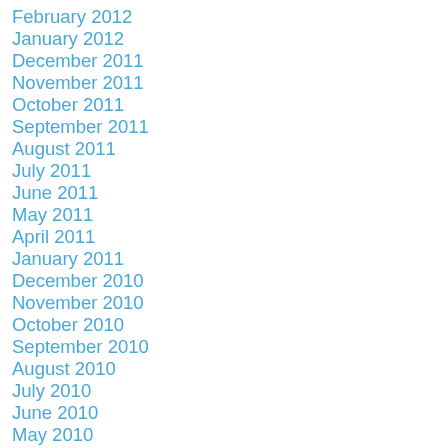February 2012
January 2012
December 2011
November 2011
October 2011
September 2011
August 2011
July 2011
June 2011
May 2011
April 2011
January 2011
December 2010
November 2010
October 2010
September 2010
August 2010
July 2010
June 2010
May 2010